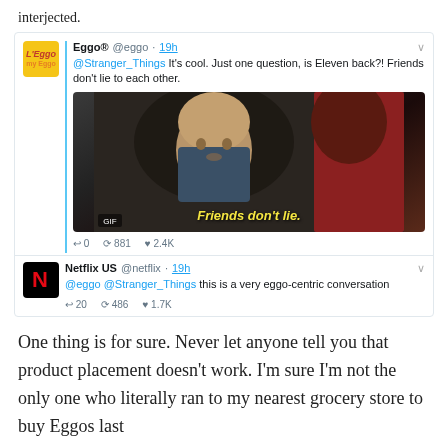interjected.
[Figure (screenshot): Screenshot of a Twitter/social media exchange. Eggo® account (@eggo, 19h) tweets at @Stranger_Things: 'It's cool. Just one question, is Eleven back?! Friends don't lie to each other.' with a GIF showing a character with text 'Friends don't lie.' Actions show 0 replies, 881 retweets, 2.4K likes. Netflix US (@netflix, 19h) replies '@eggo @Stranger_Things this is a very eggo-centric conversation' with 20 replies, 486 retweets, 1.7K likes.]
One thing is for sure. Never let anyone tell you that product placement doesn't work. I'm sure I'm not the only one who literally ran to my nearest grocery store to buy Eggos last